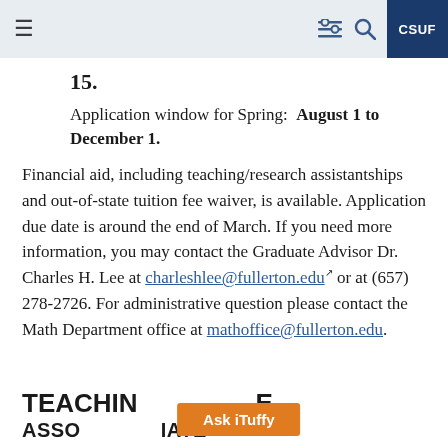CSUF navigation bar
15.
Application window for Spring: August 1 to December 1.
Financial aid, including teaching/research assistantships and out-of-state tuition fee waiver, is available. Application due date is around the end of March. If you need more information, you may contact the Graduate Advisor Dr. Charles H. Lee at charleshlee@fullerton.edu or at (657) 278-2726. For administrative question please contact the Math Department office at mathoffice@fullerton.edu.
TEACHING ASSOCIATE